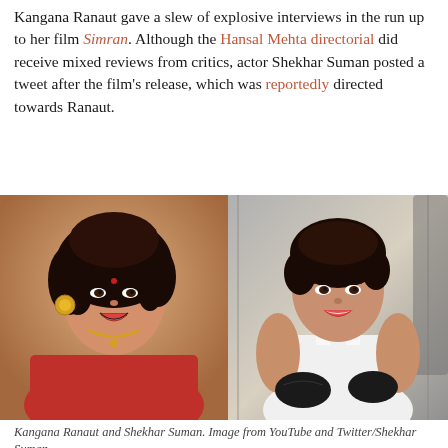Kangana Ranaut gave a slew of explosive interviews in the run-up to her film Simran. Although the Hansal Mehta directorial did receive mixed reviews from critics, actor Shekhar Suman posted a tweet after the film's release, which was reportedly directed towards Ranaut.
[Figure (photo): Side-by-side photos: left shows Kangana Ranaut smiling wearing traditional jewelry and red attire; right shows Shekhar Suman smiling in a gym wearing a white tank top and workout gloves.]
Kangana Ranaut and Shekhar Suman. Image from YouTube and Twitter/Shekhar Suman